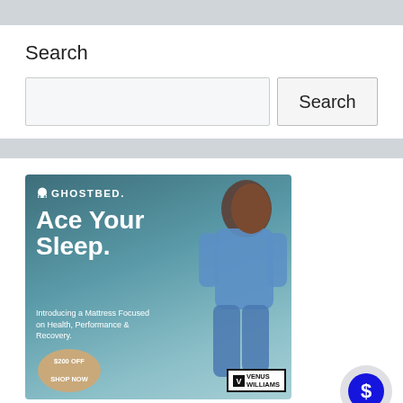Search
[Figure (screenshot): Search input box and Search button]
[Figure (illustration): GhostBed advertisement featuring Venus Williams. Text: GHOSTBED. Ace Your Sleep. Introducing a Mattress Focused on Health, Performance & Recovery. $200 OFF SHOP NOW. VENUS WILLIAMS logo.]